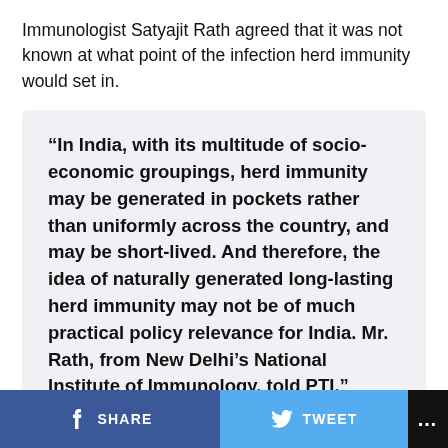Immunologist Satyajit Rath agreed that it was not known at what point of the infection herd immunity would set in.
“In India, with its multitude of socio-economic groupings, herd immunity may be generated in pockets rather than uniformly across the country, and may be short-lived. And therefore, the idea of naturally generated long-lasting herd immunity may not be of much practical policy relevance for India. Mr. Rath, from New Delhi’s National Institute of Immunology, told PTI.”
SHARE  TWEET  ...